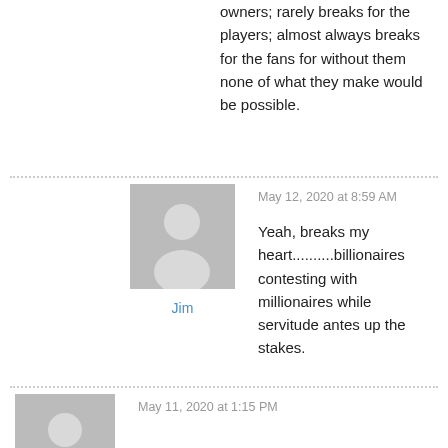owners; rarely breaks for the players; almost always breaks for the fans for without them none of what they make would be possible.
May 12, 2020 at 8:59 AM
[Figure (illustration): Generic user avatar silhouette on grey background]
Jim
Yeah, breaks my heart..........billionaires contesting with millionaires while servitude antes up the stakes.
May 11, 2020 at 1:15 PM
[Figure (illustration): Generic user avatar silhouette on grey background]